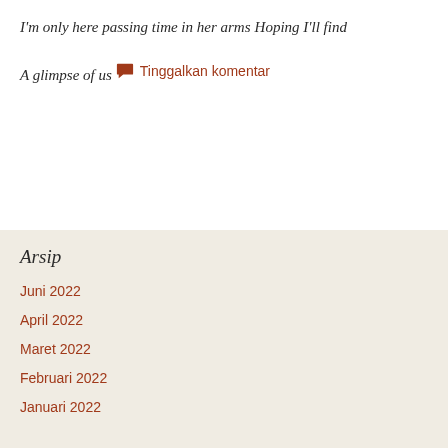I'm only here passing time in her arms
Hoping I'll find
A glimpse of us
Tinggalkan komentar
Arsip
Juni 2022
April 2022
Maret 2022
Februari 2022
Januari 2022